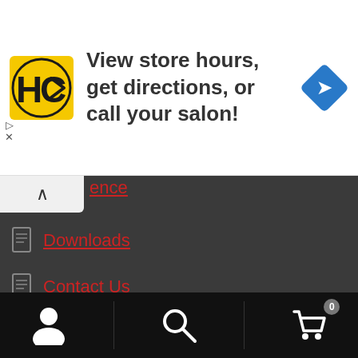[Figure (screenshot): Ad banner with HC salon logo, text 'View store hours, get directions, or call your salon!', and a blue diamond direction arrow icon]
ence (partial, truncated link)
Downloads
Contact Us
Store Privacy Policy
Terms and Conditions
Buy Using Visa Card
Affiliates
Payment
[Figure (screenshot): Black bottom toolbar with user/person icon, search magnifying glass icon, and shopping cart icon with badge showing 0]